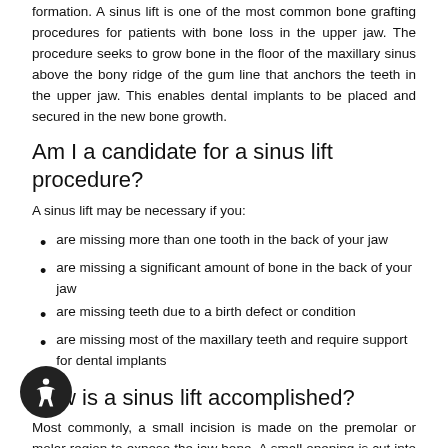formation. A sinus lift is one of the most common bone grafting procedures for patients with bone loss in the upper jaw. The procedure seeks to grow bone in the floor of the maxillary sinus above the bony ridge of the gum line that anchors the teeth in the upper jaw. This enables dental implants to be placed and secured in the new bone growth.
Am I a candidate for a sinus lift procedure?
A sinus lift may be necessary if you:
are missing more than one tooth in the back of your jaw
are missing a significant amount of bone in the back of your jaw
are missing teeth due to a birth defect or condition
are missing most of the maxillary teeth and require support for dental implants
How is a sinus lift accomplished?
Most commonly, a small incision is made on the premolar or molar region to expose the jaw bone. A small opening is cut into the bone, and the membrane lining the sinus is pushed upward. The underlying space is filled with bone grafting material, either from your own body or from other sources. Sometimes, synthetic materials that imitate bone formation are used. After the bone is implanted, the incision is